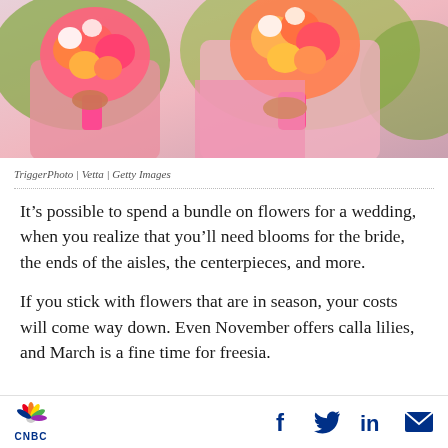[Figure (photo): Two women holding colorful pink and orange flower bouquets, wearing pink dresses, photo by TriggerPhoto / Vetta / Getty Images]
TriggerPhoto | Vetta | Getty Images
It’s possible to spend a bundle on flowers for a wedding, when you realize that you’ll need blooms for the bride, the ends of the aisles, the centerpieces, and more.
If you stick with flowers that are in season, your costs will come way down. Even November offers calla lilies, and March is a fine time for freesia.
CNBC | Facebook | Twitter | LinkedIn | Email